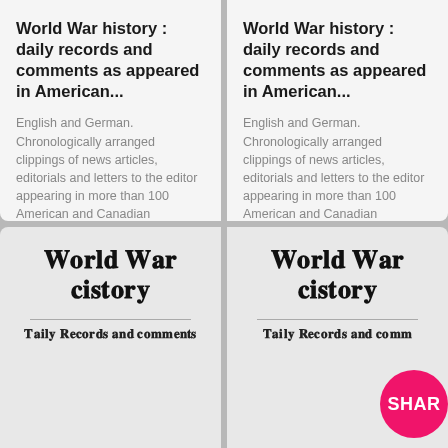World War history : daily records and comments as appeared in American...
English and German. Chronologically arranged clippings of news articles, editorials and letters to the editor appearing in more than 100 American and Canadian newspapers.
World War history : daily records and comments as appeared in American...
English and German. Chronologically arranged clippings of news articles, editorials and letters to the editor appearing in more than 100 American and Canadian newspapers.
[Figure (illustration): Book cover with blackletter title 'World War History' and subtitle 'Daily Records and Comments']
[Figure (illustration): Book cover with blackletter title 'World War History' and subtitle 'Daily Records and Comments', with pink SHAR badge overlay]